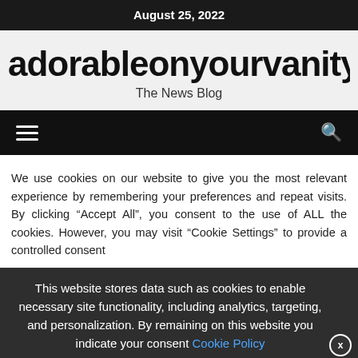August 25, 2022
adorableonyourvanity.com
The News Blog
[Figure (screenshot): Navigation bar with hamburger menu icon on the left and search icon on the right, dark background]
We use cookies on our website to give you the most relevant experience by remembering your preferences and repeat visits. By clicking "Accept All", you consent to the use of ALL the cookies. However, you may visit "Cookie Settings" to provide a controlled consent
This website stores data such as cookies to enable necessary site functionality, including analytics, targeting, and personalization. By remaining on this website you indicate your consent Cookie Policy